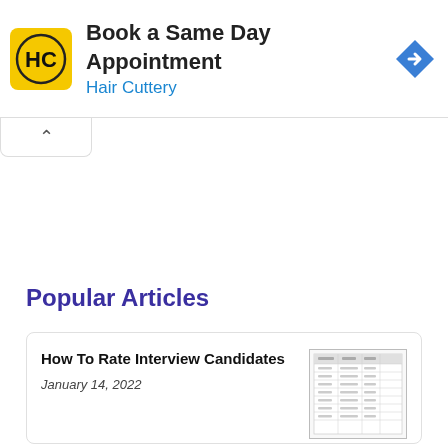[Figure (other): Hair Cuttery advertisement banner: yellow square logo with HC text, headline 'Book a Same Day Appointment', subtitle 'Hair Cuttery' in blue, and a blue diamond direction arrow icon on the right]
Popular Articles
How To Rate Interview Candidates
January 14, 2022
[Figure (table-as-image): Thumbnail image of a table document showing interview candidate rating data]